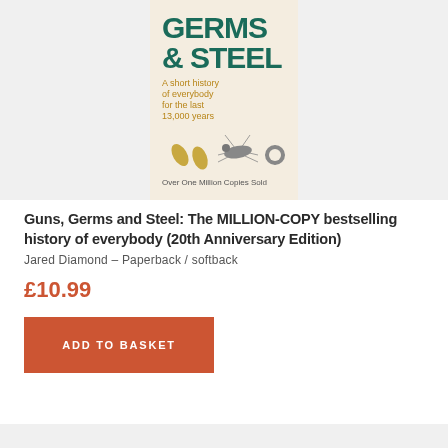[Figure (photo): Book cover of 'Guns, Germs and Steel' by Jared Diamond - 20th Anniversary Edition. Cream/beige background with teal title text, gold subtitle text reading 'A short history of everybody for the last 13,000 years', illustrations of bullets, a mosquito, and a nut/bolt, and text 'Over One Million Copies Sold'.]
Guns, Germs and Steel: The MILLION-COPY bestselling history of everybody (20th Anniversary Edition)
Jared Diamond – Paperback / softback
£10.99
ADD TO BASKET